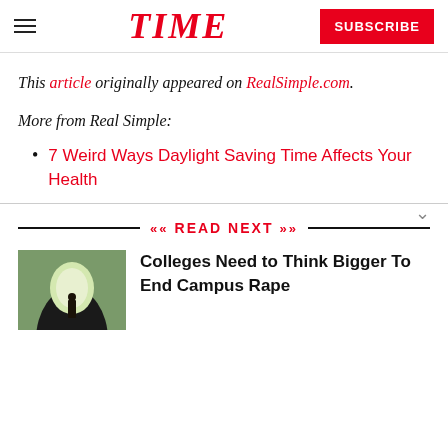TIME
This article originally appeared on RealSimple.com.
More from Real Simple:
7 Weird Ways Daylight Saving Time Affects Your Health
READ NEXT
Colleges Need to Think Bigger To End Campus Rape